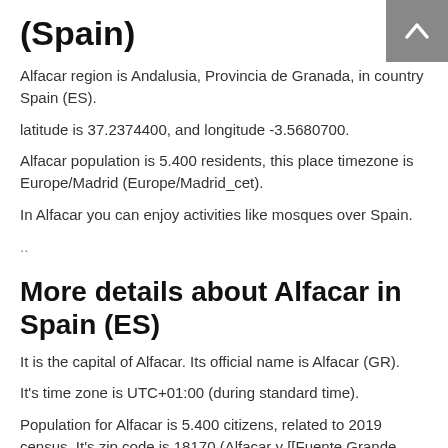(Spain)
Alfacar region is Andalusia, Provincia de Granada, in country Spain (ES).
latitude is 37.2374400, and longitude -3.5680700.
Alfacar population is 5.400 residents, this place timezone is Europe/Madrid (Europe/Madrid_cet).
In Alfacar you can enjoy activities like mosques over Spain.
..
More details about Alfacar in Spain (ES)
It is the capital of Alfacar. Its official name is Alfacar (GR).
It's time zone is UTC+01:00 (during standard time).
Population for Alfacar is 5.400 citizens, related to 2019 census. It's zip code is 18170 (Alfacar y [[Fuente Grande